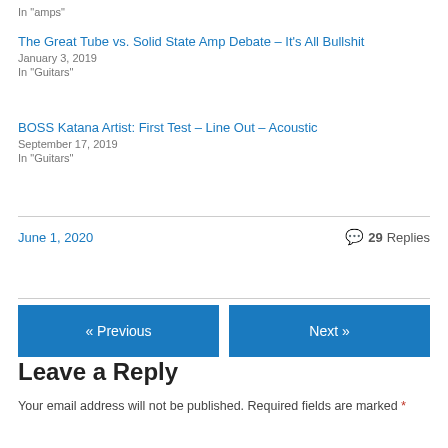In "amps"
The Great Tube vs. Solid State Amp Debate – It's All Bullshit
January 3, 2019
In "Guitars"
BOSS Katana Artist: First Test – Line Out – Acoustic
September 17, 2019
In "Guitars"
June 1, 2020
💬 29 Replies
« Previous
Next »
Leave a Reply
Your email address will not be published. Required fields are marked *